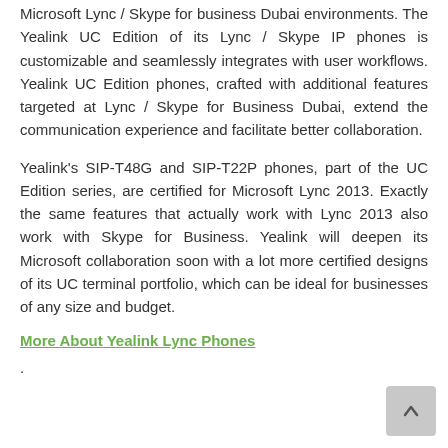Microsoft Lync / Skype for business Dubai environments. The Yealink UC Edition of its Lync / Skype IP phones is customizable and seamlessly integrates with user workflows. Yealink UC Edition phones, crafted with additional features targeted at Lync / Skype for Business Dubai, extend the communication experience and facilitate better collaboration.
Yealink's SIP-T48G and SIP-T22P phones, part of the UC Edition series, are certified for Microsoft Lync 2013. Exactly the same features that actually work with Lync 2013 also work with Skype for Business. Yealink will deepen its Microsoft collaboration soon with a lot more certified designs of its UC terminal portfolio, which can be ideal for businesses of any size and budget.
More About Yealink Lync Phones
.